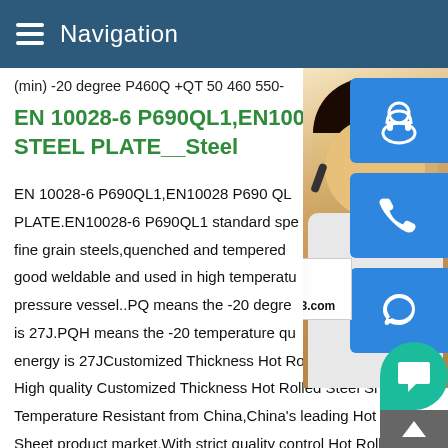Navigation
(min) -20 degree P460Q +QT 50 460 550-
EN 10028-6 P690QL1,EN10028 P690 QL STEEL PLATE__Steel
EN 10028-6 P690QL1,EN10028 P690 QL PLATE.EN10028-6 P690QL1 standard specification fine grain steels,quenched and tempered good weldable and used in high temperature pressure vessel..PQ means the -20 degree is 27J.PQH means the -20 temperature quality energy is 27JCustomized Thickness Hot Rolled Steel Sheet High High quality Customized Thickness Hot Rolled Steel Sheet High Temperature Resistant from China,China's leading Hot Rolled Steel Sheet product market,With strict quality control Hot Rolled Steel Sheet factories,Producing high quality Customized Thickness Rolled Steel Sheet High Temperature Resistant
[Figure (photo): Customer service representative (Asian woman with headset) overlaid with blue icon buttons for chat, phone, and Skype, plus email contact bsteel1@163.com and a chat bubble]